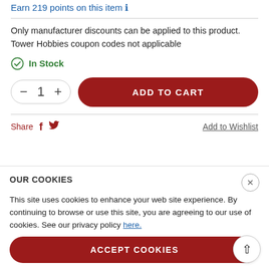Earn 219 points on this item 🛈
Only manufacturer discounts can be applied to this product. Tower Hobbies coupon codes not applicable
✓ In Stock
— 1 + ADD TO CART
Share 𝒇 🐦 Add to Wishlist
OUR COOKIES
Product Details
This site uses cookies to enhance your web site experience. By continuing to browse or use this site, you are agreeing to our use of cookies. See our privacy policy here.
Quick Links
ACCEPT COOKIES
MANUALS & SUPPORT